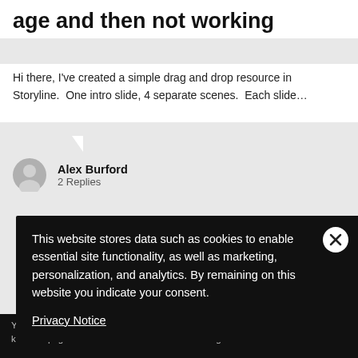age and then not working
Hi there, I've created a simple drag and drop resource in Storyline.  One intro slide, 4 separate scenes.  Each slide…
Alex Burford
2 Replies
This website stores data such as cookies to enable essential site functionality, as well as marketing, personalization, and analytics. By remaining on this website you indicate your consent.
Privacy Notice
Accept and Close ✕
Y… A… b… clicking here. This message only appears once.
g problem ne on my
k on this page to allow t of this AdRoll tracking